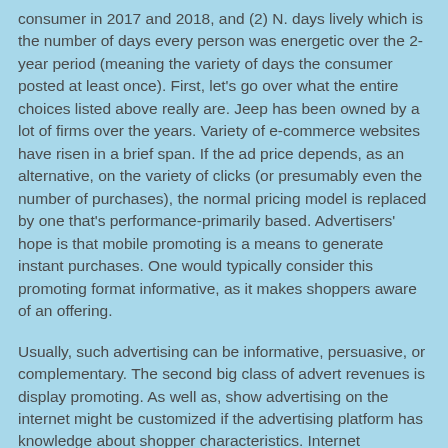consumer in 2017 and 2018, and (2) N. days lively which is the number of days every person was energetic over the 2-year period (meaning the variety of days the consumer posted at least once). First, let's go over what the entire choices listed above really are. Jeep has been owned by a lot of firms over the years. Variety of e-commerce websites have risen in a brief span. If the ad price depends, as an alternative, on the variety of clicks (or presumably even the number of purchases), the normal pricing model is replaced by one that's performance-primarily based. Advertisers' hope is that mobile promoting is a means to generate instant purchases. One would typically consider this promoting format informative, as it makes shoppers aware of an offering.
Usually, such advertising can be informative, persuasive, or complementary. The second big class of advert revenues is display promoting. As well as, show advertising on the internet might be customized if the advertising platform has knowledge about shopper characteristics. Internet marketing campaigns we run for them. On-line advertising and marketing supplies distributes data in regards to the business faster, wherever, and anytime. We'll aid you create a campaign that works for your corporation. Several researchers have conducted natural experiments on Internet promoting to research spillovers of promoting marketing campaign on competitors. Internet